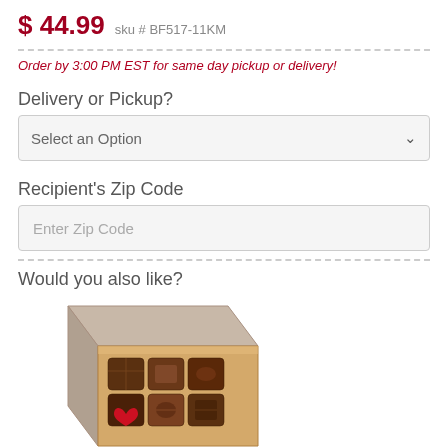$ 44.99  sku # BF517-11KM
Order by 3:00 PM EST for same day pickup or delivery!
Delivery or Pickup?
Select an Option
Recipient's Zip Code
Enter Zip Code
Would you also like?
[Figure (photo): A box of assorted chocolates, partially open, showing chocolates including a red heart-shaped chocolate, viewed from above at an angle.]